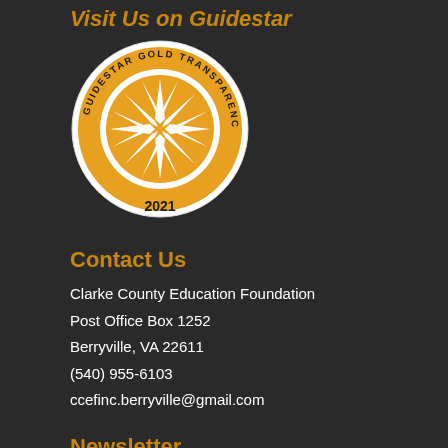Visit Us on Guidestar
[Figure (logo): Guidestar Gold Transparency 2021 badge — circular gold seal with a starburst in the center and text reading GUIDESTAR GOLD TRANSPARENCY around the rim, with 2021 at the bottom.]
Contact Us
Clarke County Education Foundation
Post Office Box 1252
Berryville, VA 22611
(540) 955-6103
ccefinc.berryville@gmail.com
Newsletter
Email address: Your email address